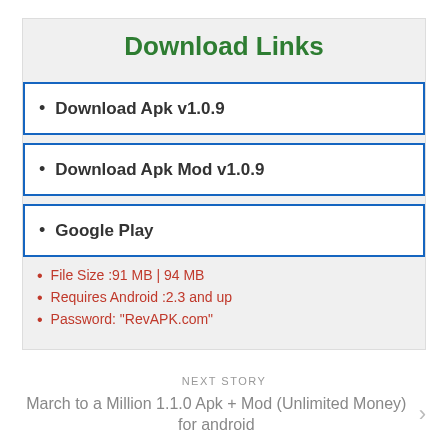Download Links
Download Apk v1.0.9
Download Apk Mod v1.0.9
Google Play
File Size :91 MB | 94 MB
Requires Android :2.3 and up
Password: "RevAPK.com"
NEXT STORY
March to a Million 1.1.0 Apk + Mod (Unlimited Money) for android